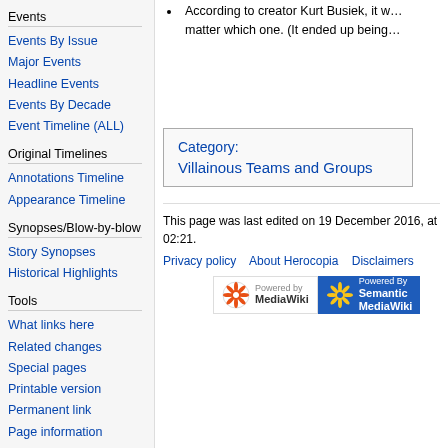Events
Events By Issue
Major Events
Headline Events
Events By Decade
Event Timeline (ALL)
Original Timelines
Annotations Timeline
Appearance Timeline
Synopses/Blow-by-blow
Story Synopses
Historical Highlights
Tools
What links here
Related changes
Special pages
Printable version
Permanent link
Page information
Browse properties
According to creator Kurt Busiek, it w... matter which one. (It ended up being...
| Category: |
| --- |
| Villainous Teams and Groups |
This page was last edited on 19 December 2016, at 02:21.
Privacy policy   About Herocopia   Disclaimers
[Figure (logo): Powered by MediaWiki badge and Powered By Semantic MediaWiki badge]